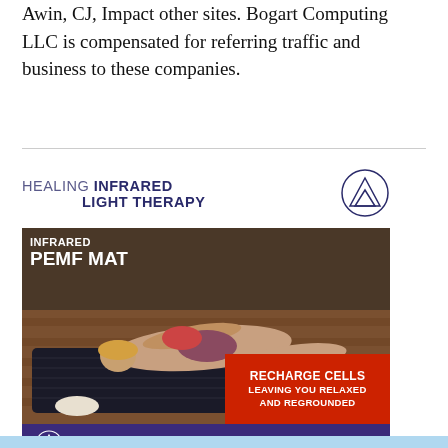Awin, CJ, Impact other sites. Bogart Computing LLC is compensated for referring traffic and business to these companies.
[Figure (infographic): Advertisement for HigherDOSE Infrared PEMF Mat. Header reads 'HEALING INFRARED LIGHT THERAPY' with a triangle logo. Main image shows a woman lying on a dark mat. Text overlay reads 'INFRARED PEMF MAT'. Red banner reads 'RECHARGE CELLS LEAVING YOU RELAXED AND REGROUNDED'. Footer bar in purple shows HigherDOSE logo and HIGHERDOSE.COM]